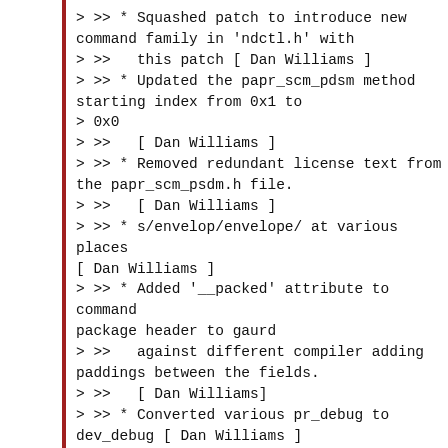> >> * Squashed patch to introduce new command family in 'ndctl.h' with
> >>   this patch [ Dan Williams ]
> >> * Updated the papr_scm_pdsm method starting index from 0x1 to
> 0x0
> >>   [ Dan Williams ]
> >> * Removed redundant license text from the papr_scm_psdm.h file.
> >>   [ Dan Williams ]
> >> * s/envelop/envelope/ at various places [ Dan Williams ]
> >> * Added '__packed' attribute to command package header to gaurd
> >>   against different compiler adding paddings between the fields.
> >>   [ Dan Williams]
> >> * Converted various pr_debug to dev_debug [ Dan Williams ]
> >>
> >> v4..v5 :
> >> * None
> >>